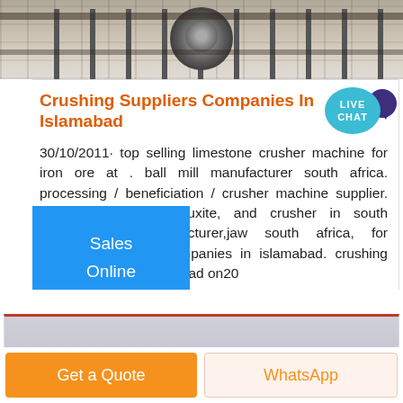[Figure (photo): Industrial machinery photo at the top of the page, showing mechanical equipment with circular components]
Crushing Suppliers Companies In Islamabad
30/10/2011· top selling limestone crusher machine for iron ore at . ball mill manufacturer south africa. processing / beneficiation / crusher machine supplier. iron ore, copper, bauxite, and crusher in south africa,crusher manufacturer,jaw south africa, for crushing suppliers companies in islamabad. crushing najeh airlines in islamabad on20
[Figure (other): Sales Online blue button]
[Figure (screenshot): Partial view of another card/section below, showing a gray gradient image peek]
Get a Quote
WhatsApp